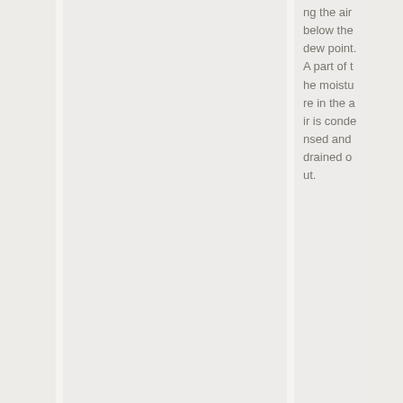ng the air below the dew point. A part of the moisture in the air is condensed and drained out.